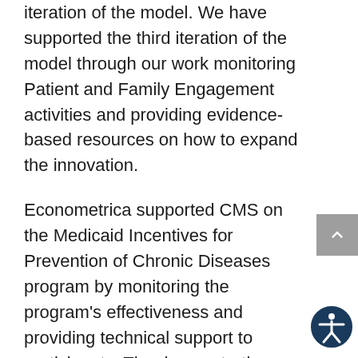iteration of the model. We have supported the third iteration of the model through our work monitoring Patient and Family Engagement activities and providing evidence-based resources on how to expand the innovation.
Econometrica supported CMS on the Medicaid Incentives for Prevention of Chronic Diseases program by monitoring the program's effectiveness and providing technical support to participants. The demonstration program tested the effectiveness of offering incentives to Medicaid beneficiaries